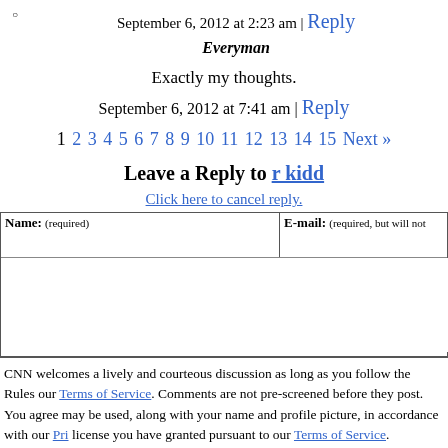September 6, 2012 at 2:23 am | Reply
Everyman
Exactly my thoughts.
September 6, 2012 at 7:41 am | Reply
1 2 3 4 5 6 7 8 9 10 11 12 13 14 15 Next »
Leave a Reply to r kidd
Click here to cancel reply.
Name: (required)   E-mail: (required, but will not
CNN welcomes a lively and courteous discussion as long as you follow the Rules our Terms of Service. Comments are not pre-screened before they post. You agree may be used, along with your name and profile picture, in accordance with our Pri license you have granted pursuant to our Terms of Service.